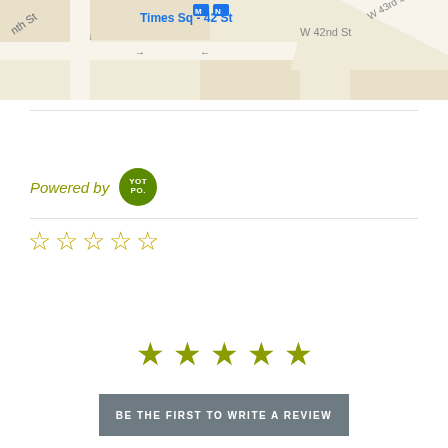[Figure (map): Google Maps street map showing Times Sq - 42 St subway station, W 42nd St, W 43rd St intersection area]
Powered by YOTPO.
[Figure (other): Five empty/outline star rating icons in olive/gold color]
[Figure (other): Five filled solid star rating icons in olive/green color]
BE THE FIRST TO WRITE A REVIEW